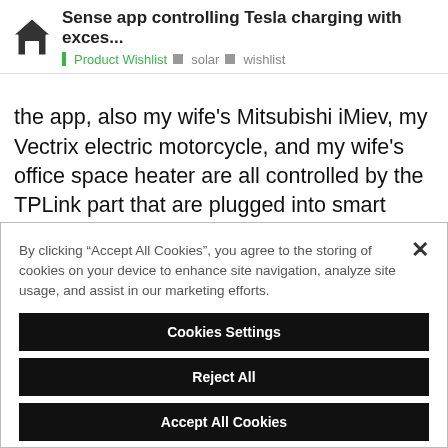Sense app controlling Tesla charging with exces... | Product Wishlist | solar | wishlist
the app, also my wife's Mitsubishi iMiev, my Vectrix electric motorcycle, and my wife's office space heater are all controlled by the TPLink part that are plugged into smart plugs so when the Hot Tub, the Dishwasher, the Oven, the Iron or any other high draw device takes all the free solar they turn off, and when done, my devices, or any I put in the list, will come back on and use free solar until the sun goes down.
By clicking “Accept All Cookies”, you agree to the storing of cookies on your device to enhance site navigation, analyze site usage, and assist in our marketing efforts.
Cookies Settings
Reject All
Accept All Cookies